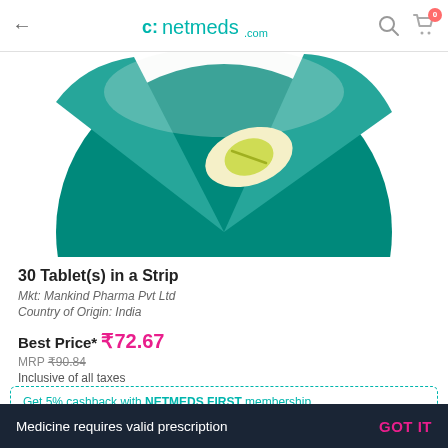netmeds.com
[Figure (illustration): Circular product image on teal/dark teal background showing a yellow-green capsule/tablet]
30 Tablet(s) in a Strip
Mkt: Mankind Pharma Pvt Ltd
Country of Origin: India
Best Price* ₹72.67
MRP ₹90.84
Inclusive of all taxes
* Get the best price on this product on orders above Rs 999
Get 5% cashback with NETMEDS FIRST membership
Medicine requires valid prescription  GOT IT